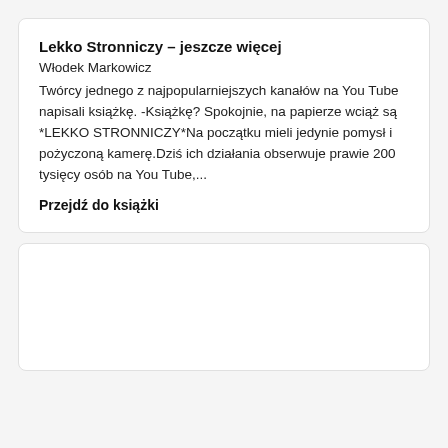Lekko Stronniczy – jeszcze więcej
Włodek Markowicz
Twórcy jednego z najpopularniejszych kanałów na You Tube napisali książkę. -Książkę? Spokojnie, na papierze wciąż są *LEKKO STRONNICZY*Na początku mieli jedynie pomysł i pożyczoną kamerę.Dziś ich działania obserwuje prawie 200 tysięcy osób na You Tube,...
Przejdź do książki